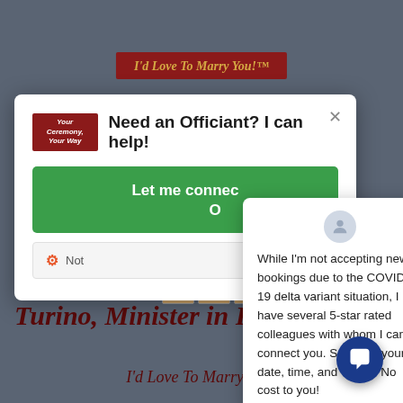[Figure (screenshot): Website screenshot showing a wedding officiant page with dark gray background, overlaid by a modal popup 'Need an Officiant? I can help!' with a green button and a chat popup with COVID-19 message]
I'd Love To Marry You!™
Need an Officiant? I can help!
Let me connect ...
Not ...
While I'm not accepting new bookings due to the COVID-19 delta variant situation, I have several 5-star rated colleagues with whom I can connect you. Send me your date, time, and venue. No cost to you!
Wedding Officiant Jon Turino, Minister in Port...
I'd Love To Marry You!